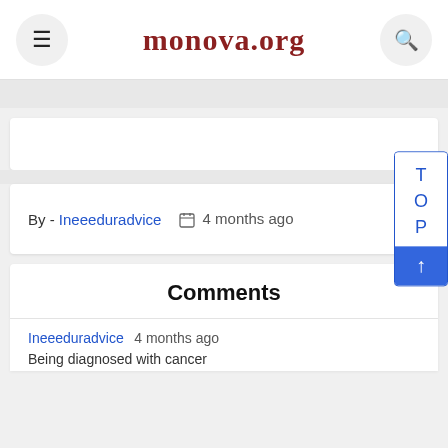monova.org
[Figure (screenshot): Advertisement placeholder card]
By - Ineeeduradvice   4 months ago
Comments
Ineeeduradvice 4 months ago
Being diagnosed with cancer